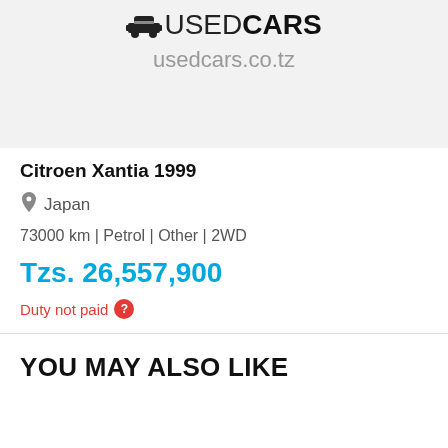[Figure (logo): Used Cars logo with car icon and text 'USEDCARS' and URL 'usedcars.co.tz']
Citroen Xantia 1999
Japan
73000 km | Petrol | Other | 2WD
Tzs. 26,557,900
Duty not paid
YOU MAY ALSO LIKE